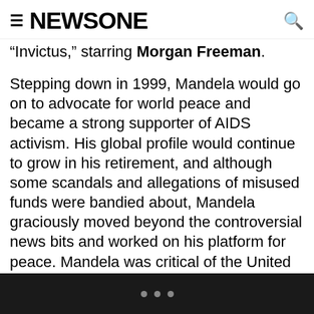NEWSONE
“Invictus,” starring Morgan Freeman.
Stepping down in 1999, Mandela would go on to advocate for world peace and became a strong supporter of AIDS activism. His global profile would continue to grow in his retirement, and although some scandals and allegations of misused funds were bandied about, Mandela graciously moved beyond the controversial news bits and worked on his platform for peace. Mandela was critical of the United States and United Kingdom’s foreign policy programs, directing his ire toward George Bush and U.K. Prime Minister Tony Blair.
• • •